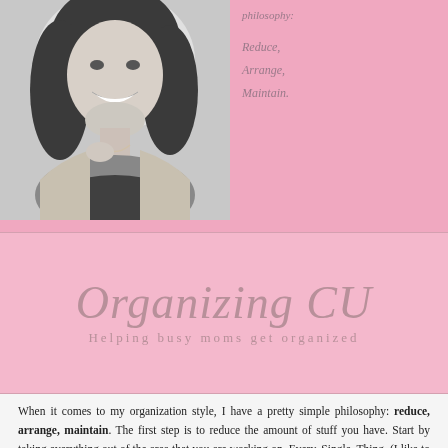[Figure (photo): Black and white photo of a smiling woman with curly hair, touching her necklace]
philosophy:

Reduce,
Arrange,
Maintain.
Organizing CU
Helping busy moms get organized
When it comes to my organization style, I have a pretty simple philosophy: reduce, arrange, maintain. The first step is to reduce the amount of stuff you have. Start by taking everything out of the area that you are working on. Every. Single. Thing. (I like to take this opportunity to clean off the surface since it's one of the